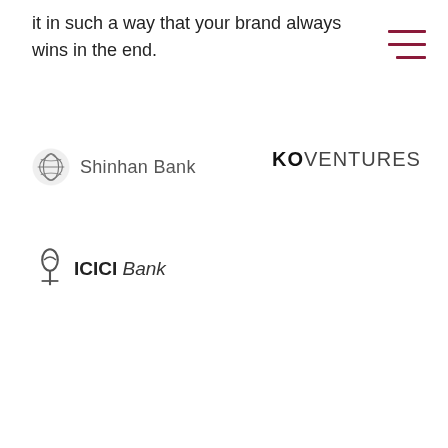it in such a way that your brand always wins in the end.
[Figure (logo): Hamburger menu icon with three dark red horizontal lines]
[Figure (logo): Shinhan Bank logo with grey globe-like icon and text 'Shinhan Bank']
[Figure (logo): KOVENTURES logo with bold KO and lighter VENTURES text]
[Figure (logo): ICICI Bank logo with stylized torch icon and text 'ICICI Bank' in bold italic]